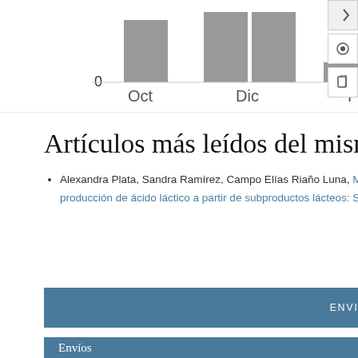[Figure (bar-chart): Artículos leídos por mes]
Artículos más leídos del mismo autor/a
Alexandra Plata, Sandra Ramírez, Campo Elías Riaño Luna, Método de superficie de respuesta para optimizar las condiciones de producción de ácido láctico a partir de subproductos lácteos: SLC , NOVA: Vol. 10 Núm. 18 (2012)
ENVIAR UN ARTÍCULO
Envíos